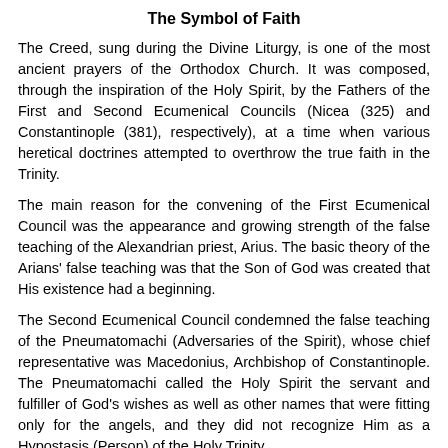The Symbol of Faith
The Creed, sung during the Divine Liturgy, is one of the most ancient prayers of the Orthodox Church. It was composed, through the inspiration of the Holy Spirit, by the Fathers of the First and Second Ecumenical Councils (Nicea (325) and Constantinople (381), respectively), at a time when various heretical doctrines attempted to overthrow the true faith in the Trinity.
The main reason for the convening of the First Ecumenical Council was the appearance and growing strength of the false teaching of the Alexandrian priest, Arius. The basic theory of the Arians' false teaching was that the Son of God was created that His existence had a beginning.
The Second Ecumenical Council condemned the false teaching of the Pneumatomachi (Adversaries of the Spirit), whose chief representative was Macedonius, Archbishop of Constantinople. The Pneumatomachi called the Holy Spirit the servant and fulfiller of God's wishes as well as other names that were fitting only for the angels, and they did not recognize Him as a Hypostasis (Person) of the Holy Trinity.
The Holy Orthodox Church made a decisive stand to protect the purity of the Orthodox teaching of the faith, setting out the basic saving truths of Christian teaching in the Creed, which is a constant guide for all Orthodox